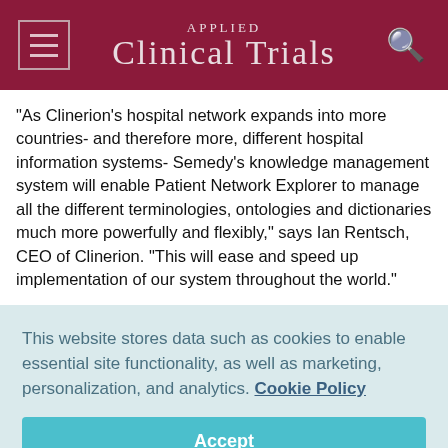Applied Clinical Trials
“As Clinerion’s hospital network expands into more countries- and therefore more, different hospital information systems- Semedy’s knowledge management system will enable Patient Network Explorer to manage all the different terminologies, ontologies and dictionaries much more powerfully and flexibly,” says Ian Rentsch, CEO of Clinerion. “This will ease and speed up implementation of our system throughout the world.”
This website stores data such as cookies to enable essential site functionality, as well as marketing, personalization, and analytics. Cookie Policy
Accept
Deny